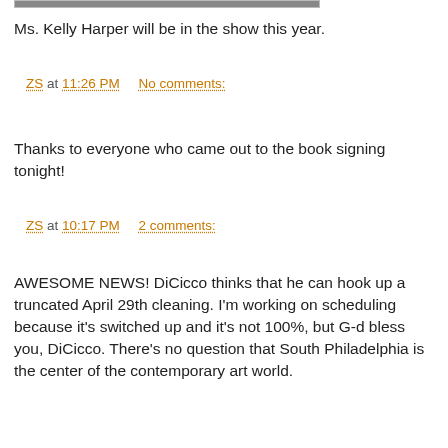[Figure (photo): Cropped photo strip visible at top of page]
Ms. Kelly Harper will be in the show this year.
ZS at 11:26 PM    No comments:
Thanks to everyone who came out to the book signing tonight!
ZS at 10:17 PM    2 comments:
AWESOME NEWS! DiCicco thinks that he can hook up a truncated April 29th cleaning. I'm working on scheduling because it's switched up and it's not 100%, but G-d bless you, DiCicco. There's no question that South Philadelphia is the center of the contemporary art world.